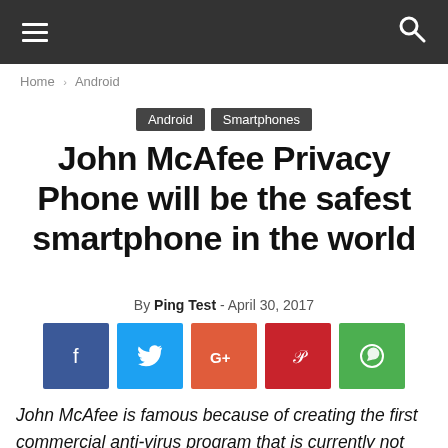Home › Android
Android   Smartphones
John McAfee Privacy Phone will be the safest smartphone in the world
By Ping Test - April 30, 2017
[Figure (other): Social share buttons: Facebook, Twitter, Google+, Pinterest, WhatsApp]
John McAfee is famous because of creating the first commercial anti-virus program that is currently not well-received. But John McAfee himself has nothing to do with